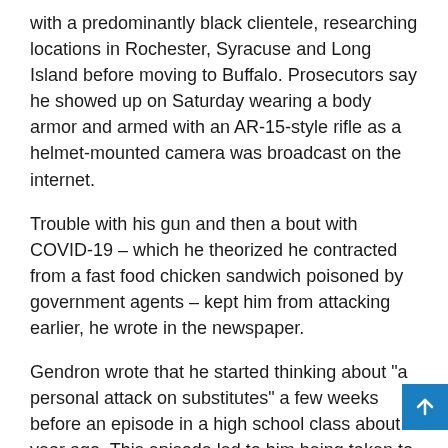with a predominantly black clientele, researching locations in Rochester, Syracuse and Long Island before moving to Buffalo. Prosecutors say he showed up on Saturday wearing a body armor and armed with an AR-15-style rifle as a helmet-mounted camera was broadcast on the internet.
Trouble with his gun and then a bout with COVID-19 – which he theorized he contracted from a fast food chicken sandwich poisoned by government agents – kept him from attacking earlier, he wrote in the newspaper.
Gendron wrote that he started thinking about "a personal attack on substitutes" a few weeks before an episode in a high school class about a year ago. This episode led to him being taken to the hospital for a psychiatric evaluation.
A few weeks before the attack, Gendron wrote that neither his parents nor his brothers were aware of his plans, but that he feared that they did.